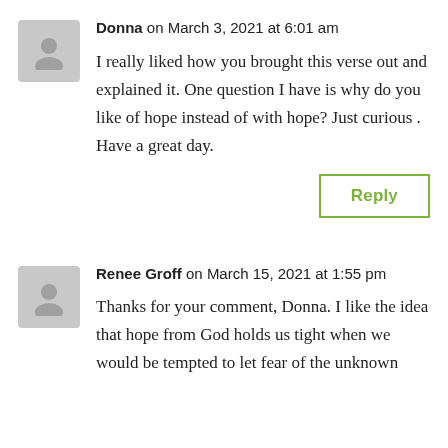Donna on March 3, 2021 at 6:01 am
I really liked how you brought this verse out and explained it. One question I have is why do you like of hope instead of with hope? Just curious . Have a great day.
Reply
Renee Groff on March 15, 2021 at 1:55 pm
Thanks for your comment, Donna. I like the idea that hope from God holds us tight when we would be tempted to let fear of the unknown